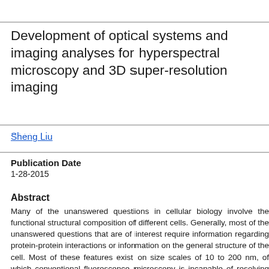Development of optical systems and imaging analyses for hyperspectral microscopy and 3D super-resolution imaging
Sheng Liu
Publication Date
1-28-2015
Abstract
Many of the unanswered questions in cellular biology involve the functional structural composition of different cells. Generally, most of the unanswered questions that are of interest require information regarding protein-protein interactions or information on the general structure of the cell. Most of these features exist on size scales of 10 to 200 nm, of which conventional fluorescence microscopy is incapable of resolving details less than 200 nm. Therefore, advanced fluorescence microscopy techniques have been developed over the few decades to address the demands of higher resolutions (both spatial and temporal) as well as multicolor imaging in order to further the efforts of